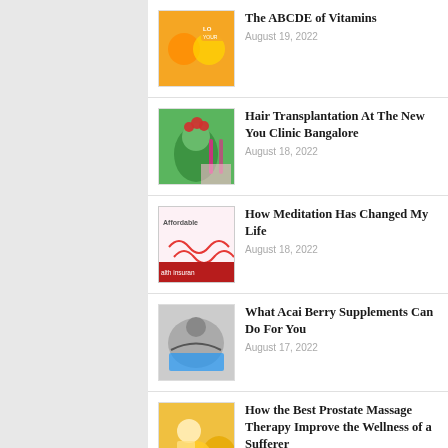The ABCDE of Vitamins — August 19, 2022
Hair Transplantation At The New You Clinic Bangalore — August 18, 2022
How Meditation Has Changed My Life — August 18, 2022
What Acai Berry Supplements Can Do For You — August 17, 2022
How the Best Prostate Massage Therapy Improve the Wellness of a Sufferer — August 14, 2022
How To Eat Right And Have Healthy Food Delivery — August 12, 2022